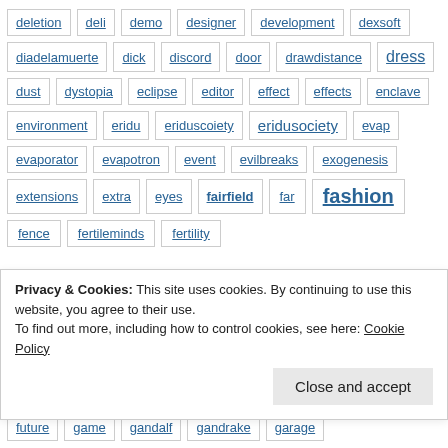deletion
deli
demo
designer
development
dexsoft
diadelamuerte
dick
discord
door
drawdistance
dress
dust
dystopia
eclipse
editor
effect
effects
enclave
environment
eridu
eriduscoiety
eridusociety
evap
evaporator
evapotron
event
evilbreaks
exogenesis
extensions
extra
eyes
fairfield
far
fashion
fence
fertileminds
fertility
Privacy & Cookies: This site uses cookies. By continuing to use this website, you agree to their use.
To find out more, including how to control cookies, see here: Cookie Policy
future
game
gandalf
gandrake
garage